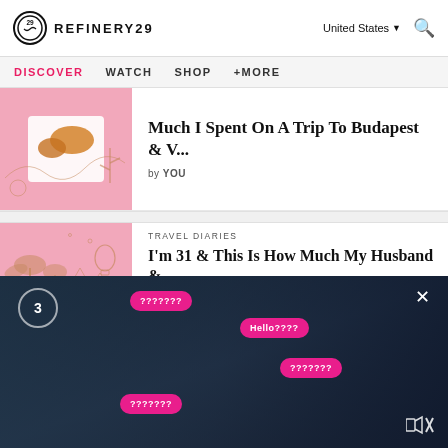REFINERY29
DISCOVER  WATCH  SHOP  +MORE
Much I Spent On A Trip To Budapest & V...
by YOU
TRAVEL DIARIES
I'm 31 & This Is How Much My Husband &
[Figure (screenshot): Video overlay with dark background showing chat bubbles with question marks, a counter showing '3', a close button, and a mute button. Pink chat bubbles contain: '???????', 'Hello????', '???????', '???????']